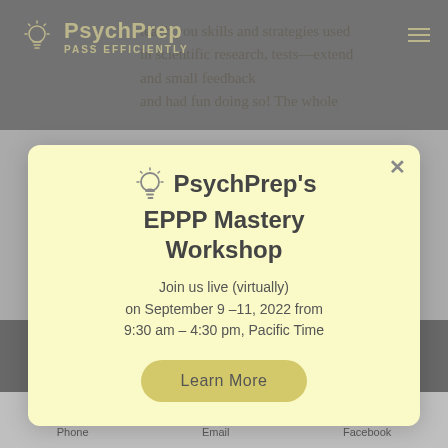PsychPrep — PASS EFFICIENTLY
...teach you skills and strategies used in scientific research, tests...end...and small feedback and had fun doing so! The whole...
PsychPrep's EPPP Mastery Workshop
Join us live (virtually) on September 9–11, 2022 from 9:30 am – 4:30 pm, Pacific Time
Learn More
Pass with PsychPrep!
Phone   Email   Facebook